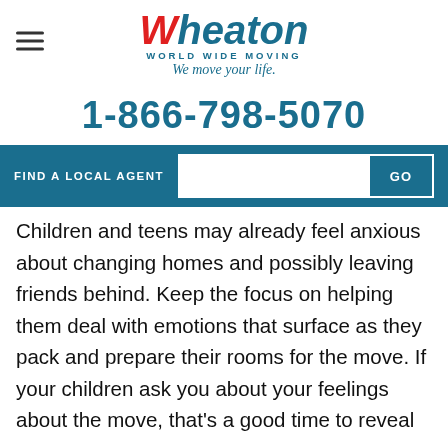[Figure (logo): Wheaton World Wide Moving logo with tagline 'We move your life.']
1-866-798-5070
FIND A LOCAL AGENT  GO
Children and teens may already feel anxious about changing homes and possibly leaving friends behind. Keep the focus on helping them deal with emotions that surface as they pack and prepare their rooms for the move. If your children ask you about your feelings about the move, that's a good time to reveal them in an age-appropriate way. However, try to keep things